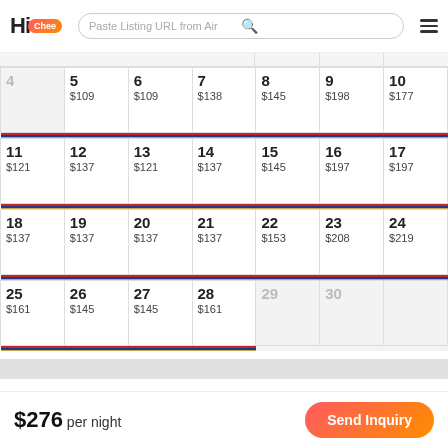HiChee — Paste Listing URL from Air
| Sun | Mon | Tue | Wed | Thu | Fri | Sat |
| --- | --- | --- | --- | --- | --- | --- |
| 4 | 5
$109 | 6
$109 | 7
$138 | 8
$145 | 9
$198 | 10
$177 |
| 11
$121 | 12
$137 | 13
$121 | 14
$137 | 15
$145 | 16
$197 | 17
$197 |
| 18
$137 | 19
$137 | 20
$137 | 21
$137 | 22
$153 | 23
$208 | 24
$219 |
| 25
$161 | 26
$145 | 27
$145 | 28
$161 | 29 | 30 |  |
Photos
$276 per night
Send Inquiry